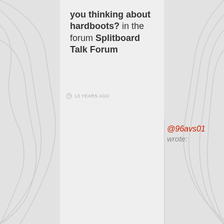[Figure (illustration): Topographic contour lines in light gray on a light gray background, flanking a central light panel]
you thinking about hardboots? in the forum Splitboard Talk Forum
13 YEARS AGO
@96avs01 wrote: